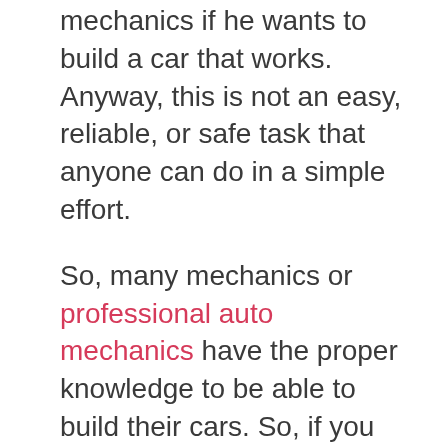mechanics if he wants to build a car that works. Anyway, this is not an easy, reliable, or safe task that anyone can do in a simple effort.
So, many mechanics or professional auto mechanics have the proper knowledge to be able to build their cars. So, if you have what it takes, here are some important steps to build a car. First of all, it requires a lot of patience as well as a lot of knowledge about car mechanics. Then, you will have to follow the next steps.